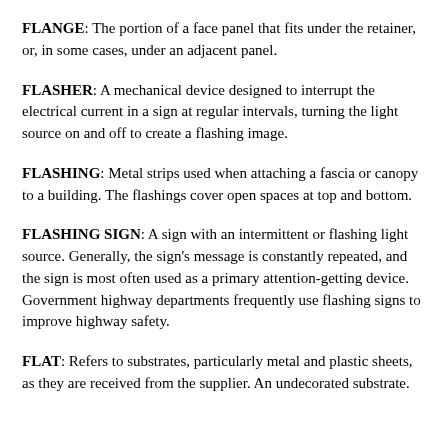FLANGE: The portion of a face panel that fits under the retainer, or, in some cases, under an adjacent panel.
FLASHER: A mechanical device designed to interrupt the electrical current in a sign at regular intervals, turning the light source on and off to create a flashing image.
FLASHING: Metal strips used when attaching a fascia or canopy to a building. The flashings cover open spaces at top and bottom.
FLASHING SIGN: A sign with an intermittent or flashing light source. Generally, the sign's message is constantly repeated, and the sign is most often used as a primary attention-getting device. Government highway departments frequently use flashing signs to improve highway safety.
FLAT: Refers to substrates, particularly metal and plastic sheets, as they are received from the supplier. An undecorated substrate.